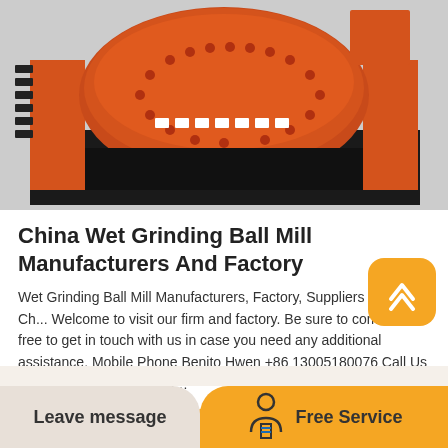[Figure (photo): Close-up photo of an orange industrial wet grinding ball mill machine with cylindrical drum and black base frame]
China Wet Grinding Ball Mill Manufacturers And Factory
Wet Grinding Ball Mill Manufacturers, Factory, Suppliers From Ch... Welcome to visit our firm and factory. Be sure to come to feel free to get in touch with us in case you need any additional assistance. Mobile Phone Benito Hwen +86 13005180076 Call Us +86 15932672204 E mail…
READ MORE
Leave message
Free Service